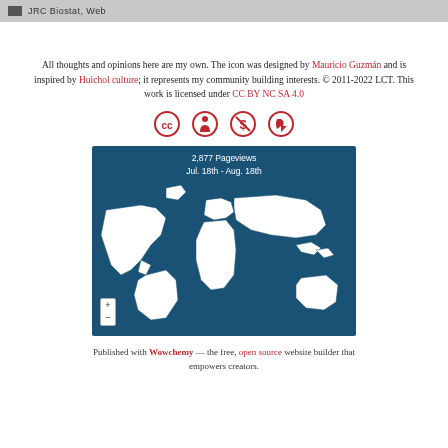JRC Biostat, Web
All thoughts and opinions here are my own. The icon was designed by Mauricio Guzmán and is inspired by Huichol culture; it represents my community building interests. © 2011-2022 LCT. This work is licensed under CC BY NC SA 4.0
[Figure (infographic): Four Creative Commons license icons in red: CC, person (BY), dollar-cross (NC), and share-alike (SA)]
[Figure (map): World map with blue background showing 2,877 Pageviews Jul. 18th - Aug. 18th, with white country outlines and zoom controls]
Published with Wowchemy — the free, open source website builder that empowers creators.